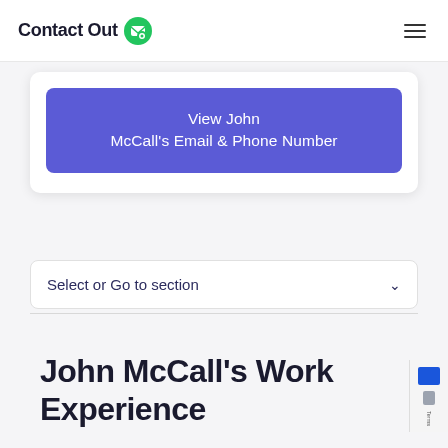ContactOut
View John McCall's Email & Phone Number
Select or Go to section
John McCall's Work Experience